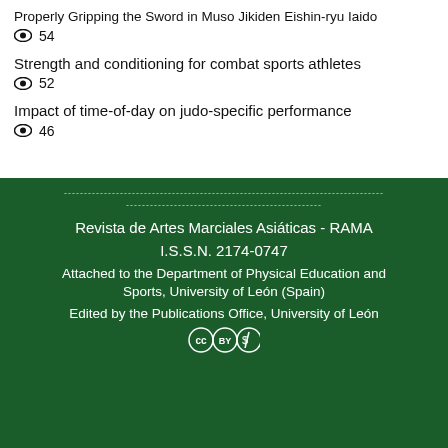Properly Gripping the Sword in Muso Jikiden Eishin-ryu Iaido
👁 54
Strength and conditioning for combat sports athletes
👁 52
Impact of time-of-day on judo-specific performance
👁 46
Revista de Artes Marciales Asiáticas - RAMA
I.S.S.N. 2174-0747
Attached to the Department of Physical Education and Sports, University of León (Spain)
Edited by the Publications Office, University of León